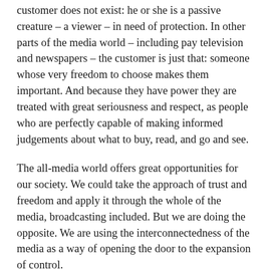customer does not exist: he or she is a passive creature – a viewer – in need of protection. In other parts of the media world – including pay television and newspapers – the customer is just that: someone whose very freedom to choose makes them important. And because they have power they are treated with great seriousness and respect, as people who are perfectly capable of making informed judgements about what to buy, read, and go and see.
The all-media world offers great opportunities for our society. We could take the approach of trust and freedom and apply it through the whole of the media, broadcasting included. But we are doing the opposite. We are using the interconnectedness of the media as a way of opening the door to the expansion of control.
This is already happening. There is a land-grab, pure and simple, going on – and in the interests of a free society it should be sternly resisted.